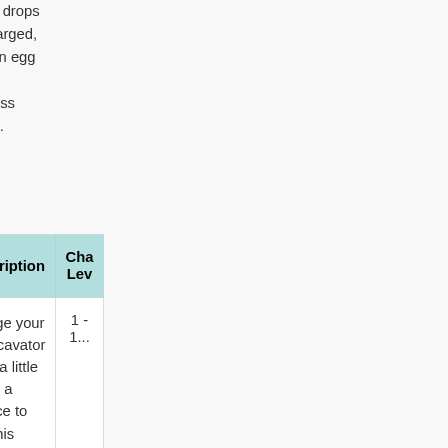20; each catch without a charm drops the level. While the meter is charged, there is a chance of receiving an egg corresponding to that level. The Eggscavator only shows progress towards the current year's eggs.
| Egg Name | Egg Image | Description | Charge Level |
| --- | --- | --- | --- |
| Low Charge Egg [ext] | Image [ext] | Charge your Eggscavator even a little bit for a chance to find this extra-special egg! | 1 - 1... |
| Medium Charge Egg [ext] | Image [ext] | Charge your Eggscavator to Medium and you'll have a ... | 13 - ... |